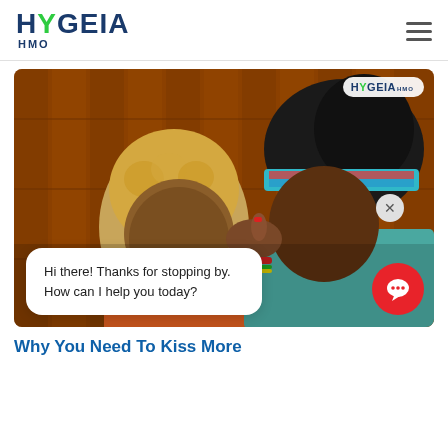HYGEIA HMO
[Figure (photo): Two women kissing, one with blonde short hair wearing orange, the other with a colorful headband wearing teal, against a wooden panel wall. Hygeia HMO watermark in top right. Chat bubble overlay: 'Hi there! Thanks for stopping by. How can I help you today?']
Why You Need To Kiss More